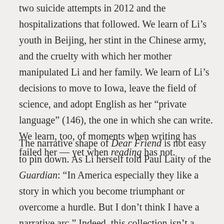two suicide attempts in 2012 and the hospitalizations that followed. We learn of Li's youth in Beijing, her stint in the Chinese army, and the cruelty with which her mother manipulated Li and her family. We learn of Li's decisions to move to Iowa, leave the field of science, and adopt English as her “private language” (146), the one in which she can write. We learn, too, of moments when writing has failed her — yet when reading has not.
The narrative shape of Dear Friend is not easy to pin down. As Li herself told Paul Laity of the Guardian: “In America especially they like a story in which you become triumphant or overcome a hurdle. But I don’t think I have a narrative arc.” Indeed, this collection isn’t a